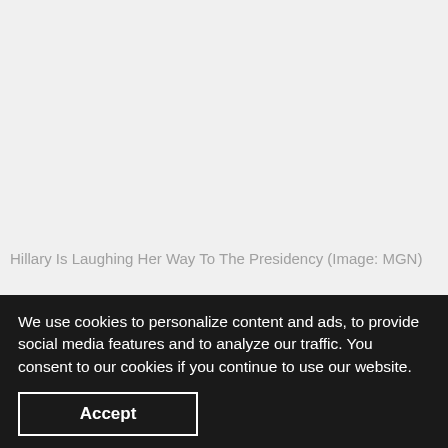Hillary Is Laughing Her Way To The Presidency (Image: MGN)
CONTINUE READING
US to Start Collecting DNA From People Detained at Border
We use cookies to personalize content and ads, to provide social media features and to analyze our traffic. You consent to our cookies if you continue to use our website.
Accept